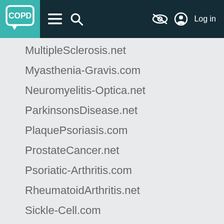COPD [navigation bar with menu, search, accessibility, and log in controls]
MultipleSclerosis.net
Myasthenia-Gravis.com
Neuromyelitis-Optica.net
ParkinsonsDisease.net
PlaquePsoriasis.com
ProstateCancer.net
Psoriatic-Arthritis.com
RheumatoidArthritis.net
Sickle-Cell.com
SkinCancer.net
Sleep-Disorders.net
SpinalMuscularAtrophy.net